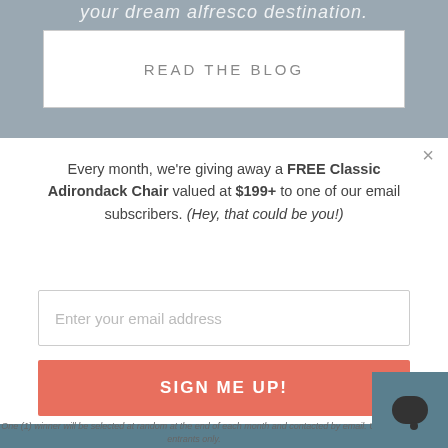[Figure (screenshot): Top portion of a website page showing a blurred outdoor/furniture background with italic text 'your dream alfresco destination.' and a white button labeled 'READ THE BLOG']
×
Every month, we're giving away a FREE Classic Adirondack Chair valued at $199+ to one of our email subscribers. (Hey, that could be you!)
Enter your email address
SIGN ME UP!
One (1) winner will be selected at random at the end of each month and contacted by email. U.S. entrants only.